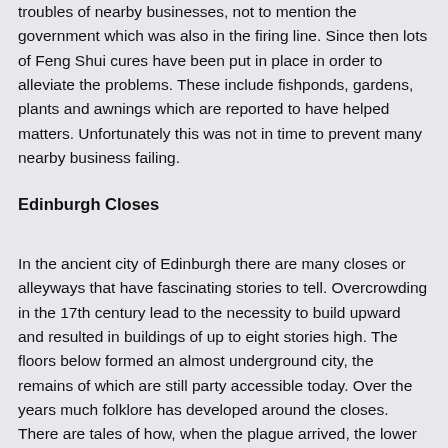troubles of nearby businesses, not to mention the government which was also in the firing line. Since then lots of Feng Shui cures have been put in place in order to alleviate the problems. These include fishponds, gardens, plants and awnings which are reported to have helped matters. Unfortunately this was not in time to prevent many nearby business failing.
Edinburgh Closes
In the ancient city of Edinburgh there are many closes or alleyways that have fascinating stories to tell. Overcrowding in the 17th century lead to the necessity to build upward and resulted in buildings of up to eight stories high. The floors below formed an almost underground city, the remains of which are still party accessible today. Over the years much folklore has developed around the closes. There are tales of how, when the plague arrived, the lower levels were boarded